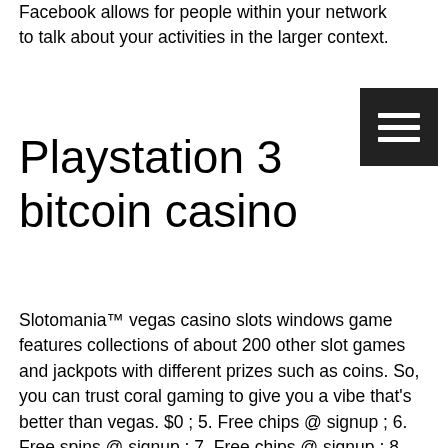Facebook allows for people within your network to talk about your activities in the larger context.
Playstation 3 bitcoin casino
Slotomania™ vegas casino slots windows game features collections of about 200 other slot games and jackpots with different prizes such as coins. So, you can trust coral gaming to give you a vibe that's better than vegas. $0 ; 5. Free chips @ signup ; 6. Free spins @ signup ; 7. Free chips @ signup ; 8. Betonline casino offers the best gameplay, bonuses and graphics in online casino gaming. Experience the thrill of vegas gambling from home. Online casino updates and reviews providing players like you with the best casino experience. Homepage: play free online casino games including slots, poker, bingo, solitaire, and blackjack in